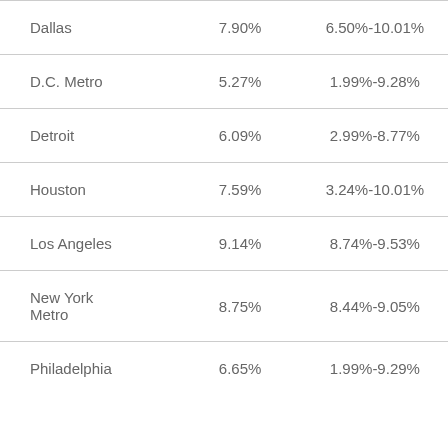| Dallas | 7.90% | 6.50%-10.01% |
| D.C. Metro | 5.27% | 1.99%-9.28% |
| Detroit | 6.09% | 2.99%-8.77% |
| Houston | 7.59% | 3.24%-10.01% |
| Los Angeles | 9.14% | 8.74%-9.53% |
| New York Metro | 8.75% | 8.44%-9.05% |
| Philadelphia | 6.65% | 1.99%-9.29% |